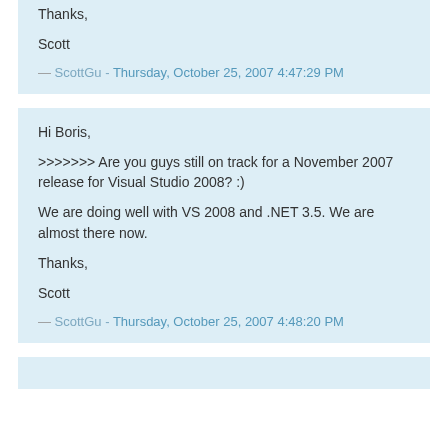Thanks,

Scott
— ScottGu - Thursday, October 25, 2007 4:47:29 PM
Hi Boris,

>>>>>>> Are you guys still on track for a November 2007 release for Visual Studio 2008? :)

We are doing well with VS 2008 and .NET 3.5. We are almost there now.

Thanks,

Scott
— ScottGu - Thursday, October 25, 2007 4:48:20 PM